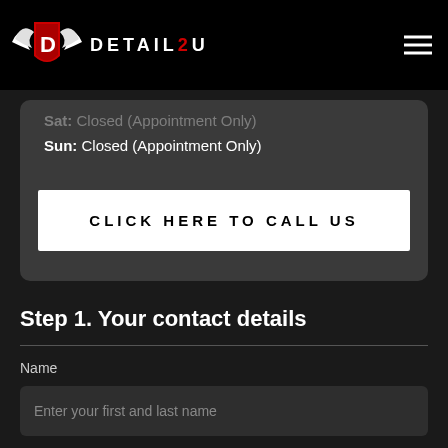[Figure (logo): Detail2U logo with winged shield emblem and brand name DETAIL2U]
Sat: Closed (Appointment Only)
Sun: Closed (Appointment Only)
CLICK HERE TO CALL US
Step 1. Your contact details
Name
Enter your first and last name